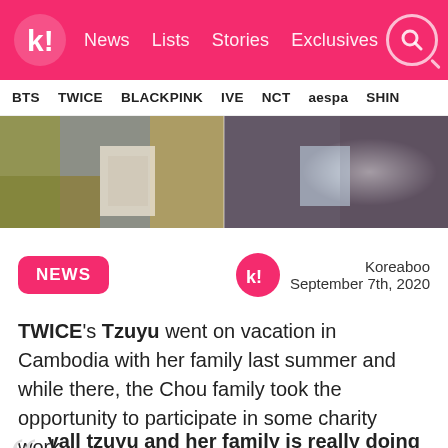k! News Lists Stories Exclusives
BTS TWICE BLACKPINK IVE NCT aespa SHIN
[Figure (photo): Photo strip showing two K-pop related images side by side]
NEWS
Koreaboo
September 7th, 2020
TWICE's Tzuyu went on vacation in Cambodia with her family last summer and while there, the Chou family took the opportunity to participate in some charity work.
yall tzuyu and her family is really doing